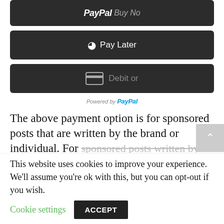[Figure (screenshot): PayPal Buy Now button (dark rounded rectangle)]
[Figure (screenshot): PayPal Pay Later button (dark rounded rectangle) with PayPal logo icon]
[Figure (screenshot): Debit or card button (dark rounded rectangle) with card icon]
Powered by PayPal
The above payment option is for sponsored posts that are written by the brand or individual. For sponsored posts written by me please send an
This website uses cookies to improve your experience. We'll assume you're ok with this, but you can opt-out if you wish.
Cookie settings
ACCEPT